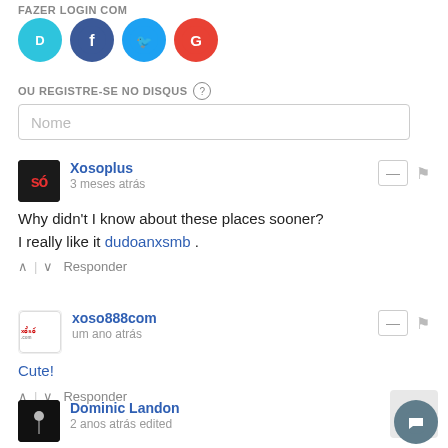FAZER LOGIN COM
[Figure (logo): Social login icons: Disqus (D), Facebook (f), Twitter (bird), Google (G)]
OU REGISTRE-SE NO DISQUS ?
Nome
Xosoplus
3 meses atrás
Why didn't I know about these places sooner? I really like it dudoanxsmb .
xoso888com
um ano atrás
Cute!
Dominic Landon
2 anos atrás edited
Awesome